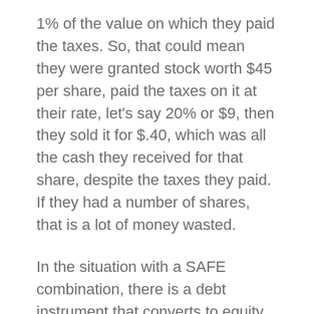1% of the value on which they paid the taxes. So, that could mean they were granted stock worth $45 per share, paid the taxes on it at their rate, let's say 20% or $9, then they sold it for $.40, which was all the cash they received for that share, despite the taxes they paid. If they had a number of shares, that is a lot of money wasted.
In the situation with a SAFE combination, there is a debt instrument that converts to equity at the next round of investment. This is a great instrument when companies are at an early stage and the discussion over valuation is difficult. When valuations